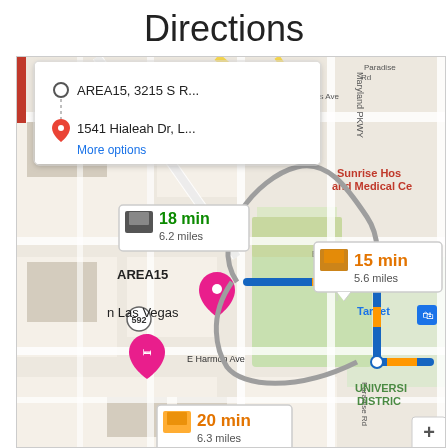Directions
[Figure (map): Google Maps screenshot showing driving directions from AREA15 (3215 S R...) to 1541 Hialeah Dr, L... in Las Vegas. Three route options shown: 18 min 6.2 miles, 15 min 5.6 miles (selected, shown in blue), and 20 min 6.3 miles. Map shows Las Vegas area with landmarks including Sunrise Hospital and Medical Center, University District, Target, Sands Ave, E Twain Ave, E Harmon Ave, Paradise Rd. Route 589 and 592 visible. Blue highlighted route with orange traffic segments shown.]